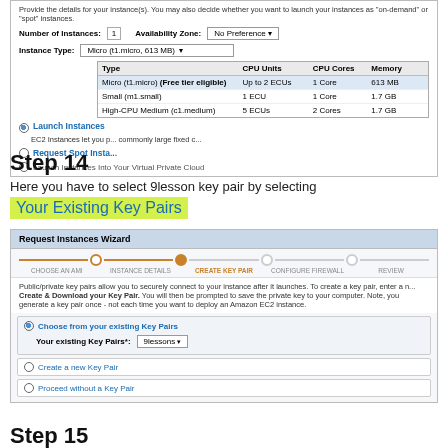[Figure (screenshot): AWS EC2 instance configuration screenshot showing Instance Type dropdown with Micro (t1.micro, 613 MB) selected, and a dropdown table listing Type, CPU Units, CPU Cores, Memory for Micro (Free tier eligible), Small (m1.small), and High-CPU Medium (c1.medium).]
Step 14
Here you have to select 9lesson key pair by selecting
Your Existing Key Pairs
[Figure (screenshot): AWS Request Instances Wizard screenshot showing CREATE KEY PAIR step, with Choose from your existing Key Pairs selected and 9lessons in the dropdown, plus options to Create a new Key Pair or Proceed without a Key Pair.]
Step 15